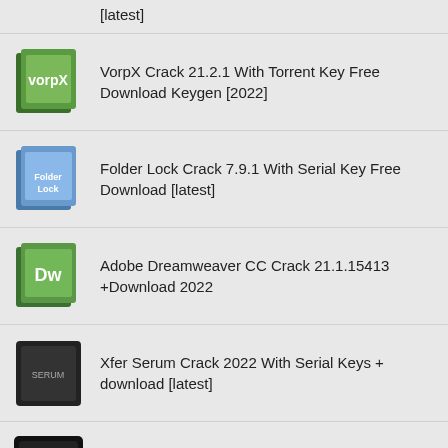[latest]
VorpX Crack 21.2.1 With Torrent Key Free Download Keygen [2022]
Folder Lock Crack 7.9.1 With Serial Key Free Download [latest]
Adobe Dreamweaver CC Crack 21.1.15413 +Download 2022
Xfer Serum Crack 2022 With Serial Keys + download [latest]
Serato DJ Pro Crack 2.5.13 Crack+Activation Key 2022 Download
DroidJack - Android Remote Administration Tool Free Download
Adobe Dreamweaver Crack v21.1.15 With Keygen Free